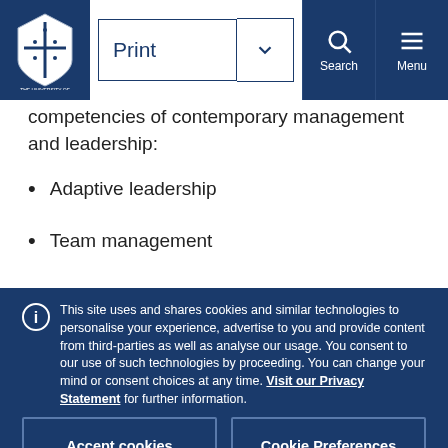Print | Search | Menu
competencies of contemporary management and leadership:
Adaptive leadership
Team management
This site uses and shares cookies and similar technologies to personalise your experience, advertise to you and provide content from third-parties as well as analyse our usage. You consent to our use of such technologies by proceeding. You can change your mind or consent choices at any time. Visit our Privacy Statement for further information.
Accept cookies
Cookie Preferences